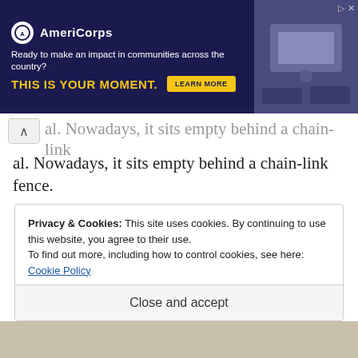[Figure (screenshot): AmeriCorps advertisement banner with dark navy background. Logo with white circle, text 'AmeriCorps'. Tagline: 'Ready to make an impact in communities across the country?' CTA: 'THIS IS YOUR MOMENT.' with 'LEARN MORE' button. Right side shows photo of people at computers.]
al. Nowadays, it sits empty behind a chain-link fence.
I left town before one of Hawthorne's biggest attractions opened for the day. You'll find the Hawthorne Ordnance Museum in a storefront on the corner of E and 9th Streets. Admission is free, and
Privacy & Cookies: This site uses cookies. By continuing to use this website, you agree to their use.
To find out more, including how to control cookies, see here: Cookie Policy
Close and accept